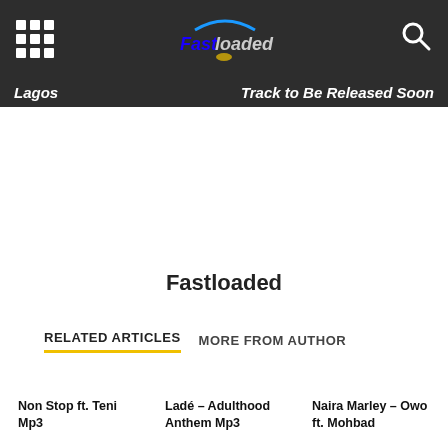Fastloaded navigation bar with grid menu icon, Fastloaded logo, and search icon
Lagos
Track to Be Released Soon
Fastloaded
RELATED ARTICLES   MORE FROM AUTHOR
Non Stop ft. Teni Mp3
Ladé – Adulthood Anthem Mp3
Naira Marley – Owo ft. Mohbad